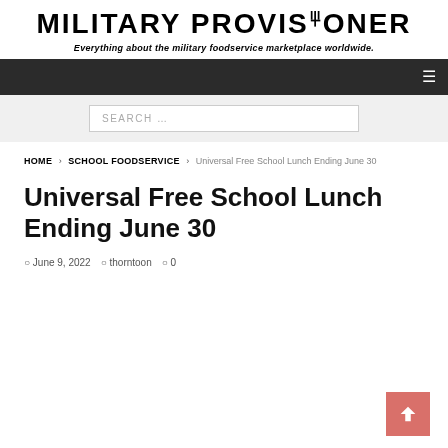MILITARY PROVISIONER — Everything about the military foodservice marketplace worldwide.
SEARCH ...
HOME > SCHOOL FOODSERVICE > Universal Free School Lunch Ending June 30
Universal Free School Lunch Ending June 30
June 9, 2022  thorntoon  0